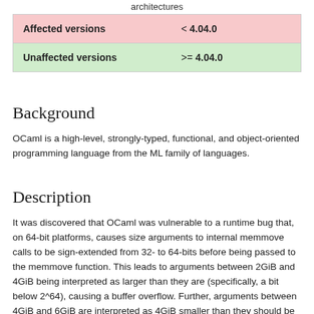architectures
|  |  |
| --- | --- |
| Affected versions | < 4.04.0 |
| Unaffected versions | >= 4.04.0 |
Background
OCaml is a high-level, strongly-typed, functional, and object-oriented programming language from the ML family of languages.
Description
It was discovered that OCaml was vulnerable to a runtime bug that, on 64-bit platforms, causes size arguments to internal memmove calls to be sign-extended from 32- to 64-bits before being passed to the memmove function. This leads to arguments between 2GiB and 4GiB being interpreted as larger than they are (specifically, a bit below 2^64), causing a buffer overflow. Further, arguments between 4GiB and 6GiB are interpreted as 4GiB smaller than they should be causing a possible information leak.